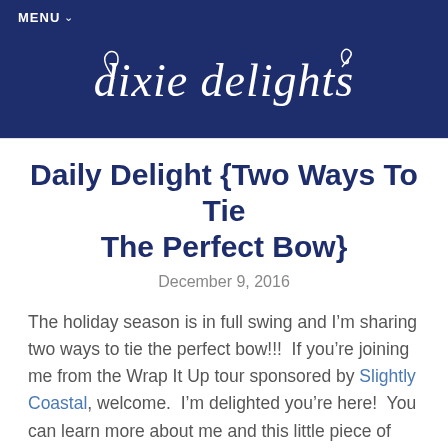MENU ∨
[Figure (logo): Dixie Delights cursive script logo in white on dark navy blue background with decorative swirls]
Daily Delight {Two Ways To Tie The Perfect Bow}
December 9, 2016
The holiday season is in full swing and I'm sharing two ways to tie the perfect bow!!!  If you're joining me from the Wrap It Up tour sponsored by Slightly Coastal, welcome.  I'm delighted you're here!  You can learn more about me and this little piece of the internet HERE